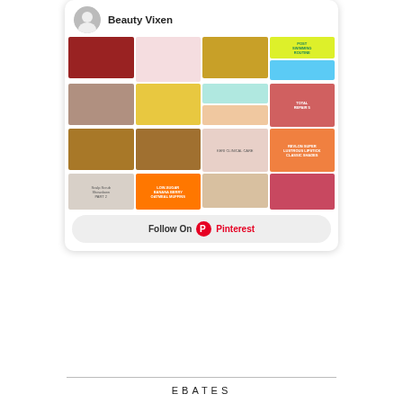[Figure (screenshot): Pinterest widget showing 'Beauty Vixen' profile with grid of beauty and food pin thumbnails and a 'Follow On Pinterest' button]
EBATES